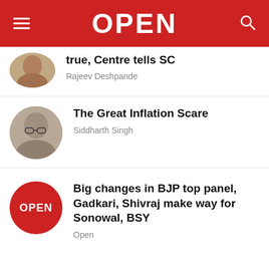OPEN
true, Centre tells SC
Rajeev Deshpande
The Great Inflation Scare
Siddharth Singh
Big changes in BJP top panel, Gadkari, Shivraj make way for Sonowal, BSY
Open